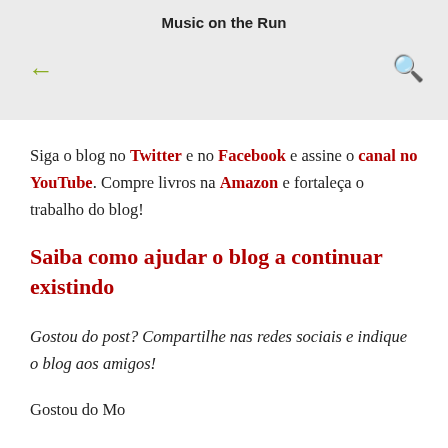Music on the Run
Siga o blog no Twitter e no Facebook e assine o canal no YouTube. Compre livros na Amazon e fortaleça o trabalho do blog!
Saiba como ajudar o blog a continuar existindo
Gostou do post? Compartilhe nas redes sociais e indique o blog aos amigos!
Gostou do Mo